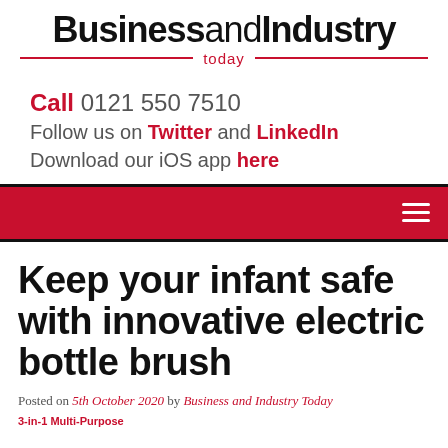BusinessandIndustry today
Call 0121 550 7510
Follow us on Twitter and LinkedIn
Download our iOS app here
[Figure (other): Red navigation bar with hamburger menu icon on the right]
Keep your infant safe with innovative electric bottle brush
Posted on 5th October 2020 by Business and Industry Today
3-in-1 Multi-Purpose